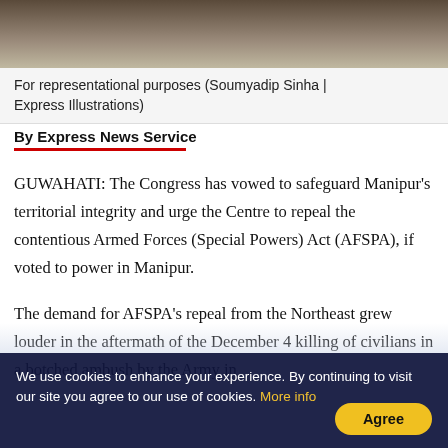[Figure (photo): Partial image of soldiers or military scene at top of page, cut off]
For representational purposes (Soumyadip Sinha | Express Illustrations)
By Express News Service
GUWAHATI: The Congress has vowed to safeguard Manipur's territorial integrity and urge the Centre to repeal the contentious Armed Forces (Special Powers) Act (AFSPA), if voted to power in Manipur.
The demand for AFSPA's repeal from the Northeast grew louder in the aftermath of the December 4 killing of civilians in a botched ambush by the Army in
We use cookies to enhance your experience. By continuing to visit our site you agree to our use of cookies. More info